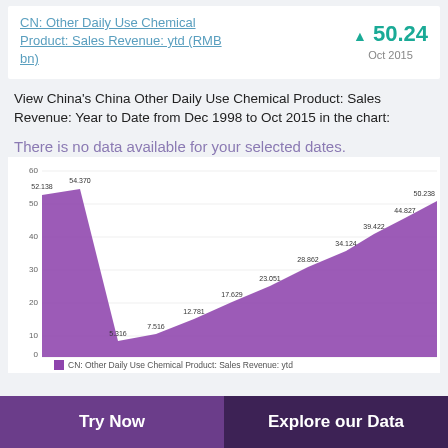CN: Other Daily Use Chemical Product: Sales Revenue: ytd (RMB bn)
▲ 50.24
Oct 2015
View China's China Other Daily Use Chemical Product: Sales Revenue: Year to Date from Dec 1998 to Oct 2015 in the chart:
There is no data available for your selected dates.
[Figure (area-chart): CN: Other Daily Use Chemical Product: Sales Revenue: ytd]
■ CN: Other Daily Use Chemical Product: Sales Revenue: ytd
Try Now
Explore our Data